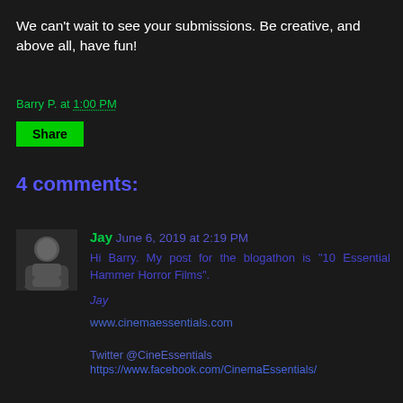We can't wait to see your submissions. Be creative, and above all, have fun!
Barry P. at 1:00 PM
Share
4 comments:
Jay June 6, 2019 at 2:19 PM
Hi Barry. My post for the blogathon is "10 Essential Hammer Horror Films".
Jay
www.cinemaessentials.com
Twitter  @CineEssentials
https://www.facebook.com/CinemaEssentials/